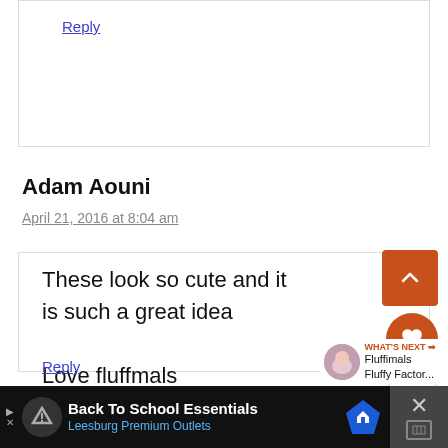Reply
Adam Aouni
April 21, 2016 at 8:04 am
These look so cute and it is such a great idea
Love fluffmals
Reply
Back To School Essentials
Leesburg Premium Outlets